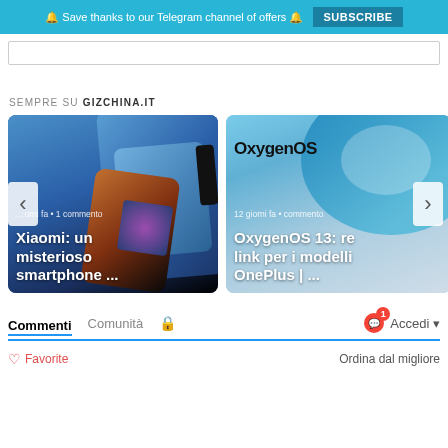🔔 Save thanks to our Telegram channel of offers 🔔   SUBSCRIBE
SEMPRE SU GIZCHINA.IT
[Figure (screenshot): Carousel card 1: Xiaomi smartphone image with text overlay '…orni fa • 1 commento' and title 'Xiaomi: un misterioso smartphone ...']
[Figure (screenshot): Carousel card 2: OxygenOS logo image with text overlay '12 giorni fa • commento' and title 'OxygenOS 13: re link per i modelli OnePlus | ...']
Commenti   Comunità   🔒   1   Accedi
Favorite   Ordina dal migliore